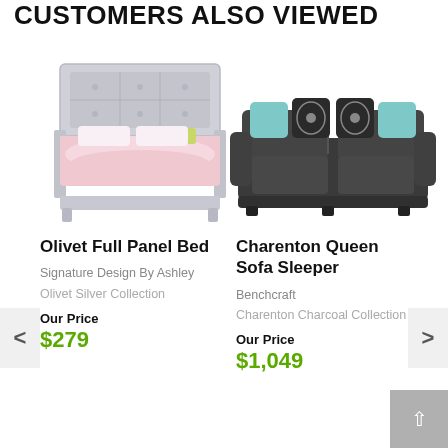CUSTOMERS ALSO VIEWED
[Figure (photo): Olivet Full Panel Bed - silver/white bed frame with pink bedding and tufted headboard]
Olivet Full Panel Bed
Signature Design By Ashley
Olivet Silver Collection
Our Price
$279
[Figure (photo): Charenton Queen Sofa Sleeper - dark charcoal sofa with teal and patterned decorative pillows]
Charenton Queen Sofa Sleeper
Benchcraft
Charenton Charcoal Collection
Our Price
$1,049